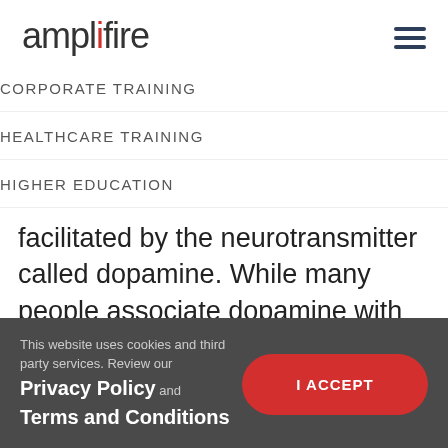[Figure (logo): Amplifire logo with red 'i' in 'fire', and hamburger menu icon top right]
CORPORATE TRAINING
HEALTHCARE TRAINING
HIGHER EDUCATION
facilitated by the neurotransmitter called dopamine. While many people associate dopamine with pleasure, it is actually responsible for kickstarting pleasure by
This website uses cookies and third party services. Review our Privacy Policy and Terms and Conditions
I ACCEPT